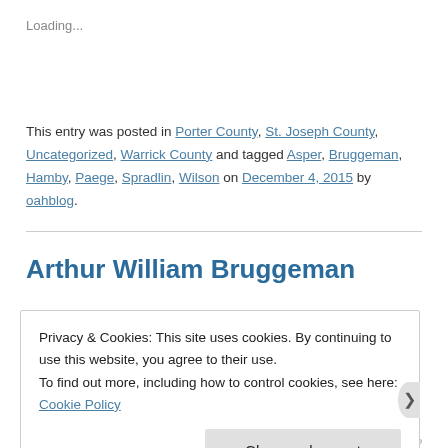Loading...
This entry was posted in Porter County, St. Joseph County, Uncategorized, Warrick County and tagged Asper, Bruggeman, Hamby, Paege, Spradlin, Wilson on December 4, 2015 by oahblog.
Arthur William Bruggeman
Privacy & Cookies: This site uses cookies. By continuing to use this website, you agree to their use.
To find out more, including how to control cookies, see here: Cookie Policy